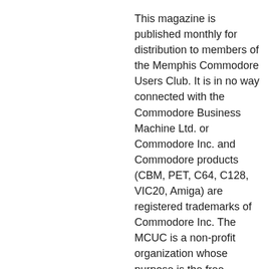This magazine is published monthly for distribution to members of the Memphis Commodore Users Club. It is in no way connected with the Commodore Business Machine Ltd. or Commodore Inc. and Commodore products (CBM, PET, C64, C128, VIC20, Amiga) are registered trademarks of Commodore Inc. The MCUC is a non-profit organization whose purpose is the free exchange of information and knowledge about the use of Commodore computer systems. Memberships are open to anyone: ownership of a computer is not required. Monthly meetings